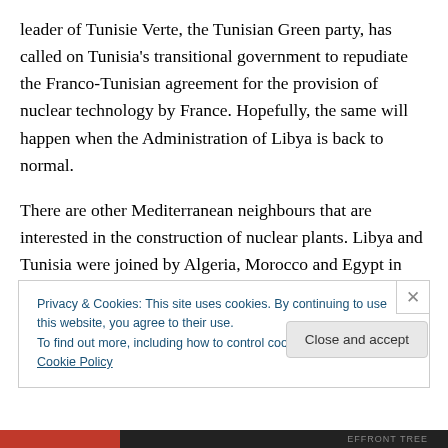leader of Tunisie Verte, the Tunisian Green party, has called on Tunisia's transitional government to repudiate the Franco-Tunisian agreement for the provision of nuclear technology by France. Hopefully, the same will happen when the Administration of Libya is back to normal.
There are other Mediterranean neighbours that are interested in the construction of nuclear plants. Libya and Tunisia were joined by Algeria, Morocco and Egypt in reacting positively to Nicolas Sarkozy, the peripatetic nuclear salesman during the past four years.
Privacy & Cookies: This site uses cookies. By continuing to use this website, you agree to their use.
To find out more, including how to control cookies, see here: Cookie Policy
Close and accept